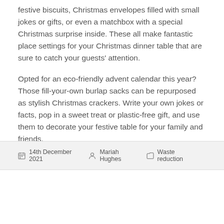festive biscuits, Christmas envelopes filled with small jokes or gifts, or even a matchbox with a special Christmas surprise inside. These all make fantastic place settings for your Christmas dinner table that are sure to catch your guests' attention.
Opted for an eco-friendly advent calendar this year? Those fill-your-own burlap sacks can be repurposed as stylish Christmas crackers. Write your own jokes or facts, pop in a sweet treat or plastic-free gift, and use them to decorate your festive table for your family and friends.
14th December 2021   Mariah Hughes   Waste reduction